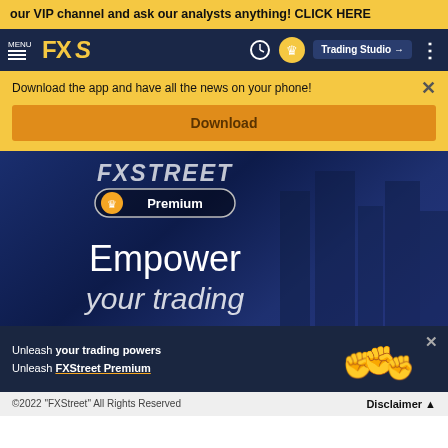our VIP channel and ask our analysts anything! CLICK HERE
[Figure (screenshot): FXStreet navigation bar with logo, clock icon, crown icon, Trading Studio button, and menu dots]
Download the app and have all the news on your phone!
Download
[Figure (screenshot): FXStreet Premium promotional banner with dark blue background showing 'FXSTREET Premium' badge, 'Empower your trading' text]
Unleash your trading powers Unleash FXStreet Premium
©2022 "FXStreet" All Rights Reserved   Disclaimer ▲